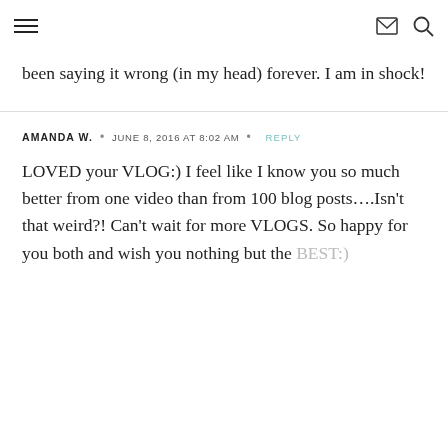≡  ✉ 🔍
been saying it wrong (in my head) forever. I am in shock!
AMANDA W.  •  JUNE 8, 2016 AT 8:02 AM  •  REPLY
LOVED your VLOG:) I feel like I know you so much better from one video than from 100 blog posts….Isn't that weird?! Can't wait for more VLOGS. So happy for you both and wish you nothing but the BEST:)